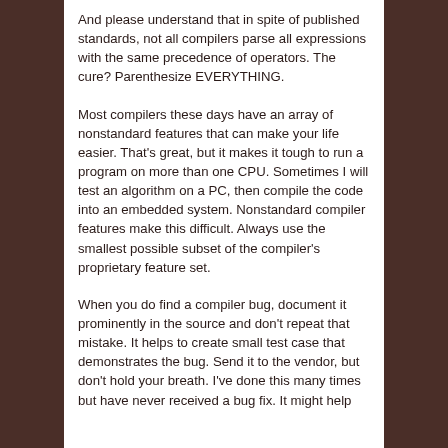And please understand that in spite of published standards, not all compilers parse all expressions with the same precedence of operators. The cure? Parenthesize EVERYTHING.
Most compilers these days have an array of nonstandard features that can make your life easier. That's great, but it makes it tough to run a program on more than one CPU. Sometimes I will test an algorithm on a PC, then compile the code into an embedded system. Nonstandard compiler features make this difficult. Always use the smallest possible subset of the compiler's proprietary feature set.
When you do find a compiler bug, document it prominently in the source and don't repeat that mistake. It helps to create small test case that demonstrates the bug. Send it to the vendor, but don't hold your breath. I've done this many times but have never received a bug fix. It might help